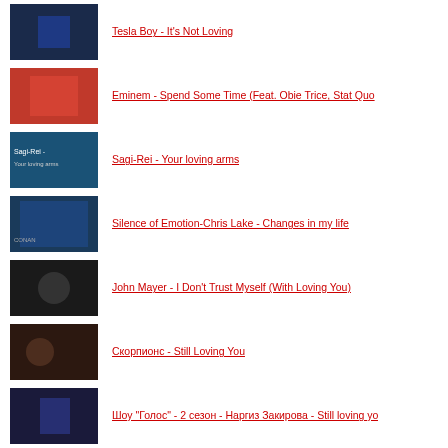Tesla Boy - It's Not Loving
Eminem - Spend Some Time (Feat. Obie Trice, Stat Quo
Sagi-Rei - Your loving arms
Silence of Emotion-Chris Lake - Changes in my life
John Mayer - I Don't Trust Myself (With Loving You)
Скорпионс - Still Loving You
Шоу "Голос" - 2 сезон - Наргиз Закирова - Still loving yo
Michael Jackson (Bad '87) - 8 - I Just Cant Stop Loving Y
Sonata Arctica - Still Loving You (Scorpions Cover)
"Первый танец молодых" Scorpions - Still loving you
(more items below)